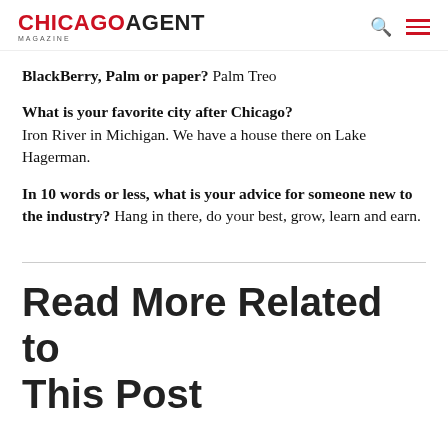CHICAGO AGENT MAGAZINE
BlackBerry, Palm or paper? Palm Treo
What is your favorite city after Chicago? Iron River in Michigan. We have a house there on Lake Hagerman.
In 10 words or less, what is your advice for someone new to the industry? Hang in there, do your best, grow, learn and earn.
Read More Related to This Post